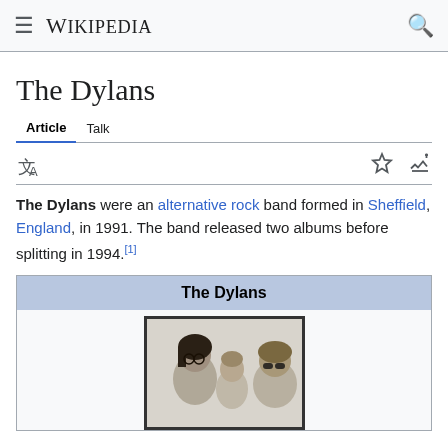Wikipedia
The Dylans
Article  Talk
The Dylans were an alternative rock band formed in Sheffield, England, in 1991. The band released two albums before splitting in 1994.[1]
| The Dylans |
| --- |
[Figure (photo): Black and white photo of The Dylans band members in a dark-framed image]